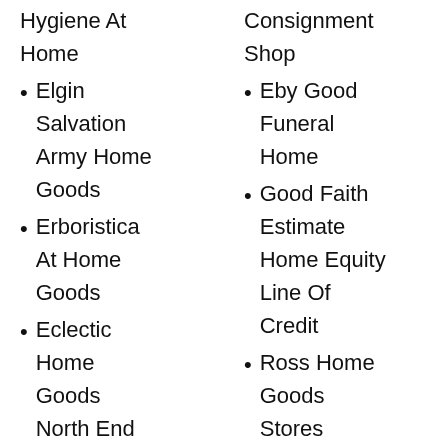Hygiene At Home
Elgin Salvation Army Home Goods
Erboristica At Home Goods
Eclectic Home Goods North End Boston
Easy Good
Consignment Shop
Eby Good Funeral Home
Good Faith Estimate Home Equity Line Of Credit
Ross Home Goods Stores
Yorkshire Terriers Free